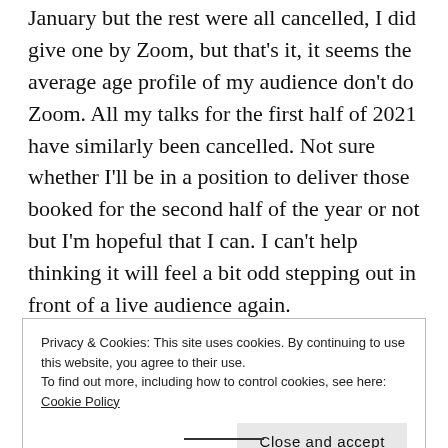I managed to give one another talk in person in January but the rest were all cancelled, I did give one by Zoom, but that's it, it seems the average age profile of my audience don't do Zoom. All my talks for the first half of 2021 have similarly been cancelled. Not sure whether I'll be in a position to deliver those booked for the second half of the year or not but I'm hopeful that I can. I can't help thinking it will feel a bit odd stepping out in front of a live audience again.
I normally set an income target for my business, I've
Privacy & Cookies: This site uses cookies. By continuing to use this website, you agree to their use.
To find out more, including how to control cookies, see here: Cookie Policy

Close and accept